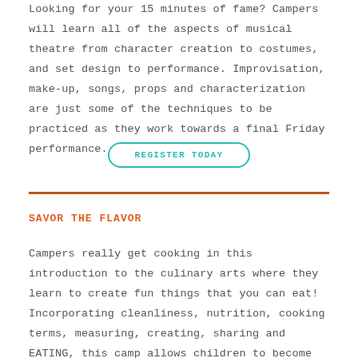Looking for your 15 minutes of fame? Campers will learn all of the aspects of musical theatre from character creation to costumes, and set design to performance. Improvisation, make-up, songs, props and characterization are just some of the techniques to be practiced as they work towards a final Friday performance.
REGISTER TODAY
SAVOR THE FLAVOR
Campers really get cooking in this introduction to the culinary arts where they learn to create fun things that you can eat! Incorporating cleanliness, nutrition, cooking terms, measuring, creating, sharing and EATING, this camp allows children to become little chefs. From chopping up to cleaning up, it's all food for thought.